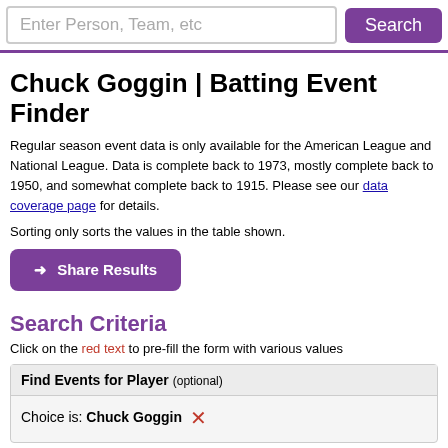Enter Person, Team, etc   Search
Chuck Goggin | Batting Event Finder
Regular season event data is only available for the American League and National League. Data is complete back to 1973, mostly complete back to 1950, and somewhat complete back to 1915. Please see our data coverage page for details.
Sorting only sorts the values in the table shown.
➜ Share Results
Search Criteria
Click on the red text to pre-fill the form with various values
| Find Events for Player (optional) |
| --- |
| Choice is: Chuck Goggin ✕ |
| Seasons |
| --- |